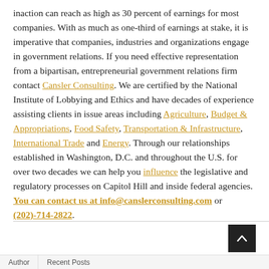inaction can reach as high as 30 percent of earnings for most companies. With as much as one-third of earnings at stake, it is imperative that companies, industries and organizations engage in government relations. If you need effective representation from a bipartisan, entrepreneurial government relations firm contact Cansler Consulting. We are certified by the National Institute of Lobbying and Ethics and have decades of experience assisting clients in issue areas including Agriculture, Budget & Appropriations, Food Safety, Transportation & Infrastructure, International Trade and Energy. Through our relationships established in Washington, D.C. and throughout the U.S. for over two decades we can help you influence the legislative and regulatory processes on Capitol Hill and inside federal agencies. You can contact us at info@canslerconsulting.com or (202)-714-2822.
Author  Recent Posts